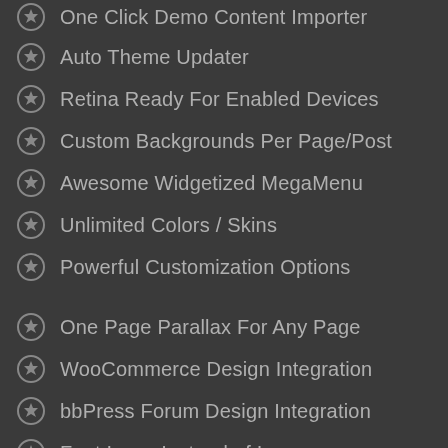One Click Demo Content Importer
Auto Theme Updater
Retina Ready For Enabled Devices
Custom Backgrounds Per Page/Post
Awesome Widgetized MegaMenu
Unlimited Colors / Skins
Powerful Customization Options
One Page Parallax For Any Page
WooCommerce Design Integration
bbPress Forum Design Integration
Font Icons Instead of Images
Eye-Catching CSS3 Animations
Boxed or Wide Per Page/Post
Extensive Doc & HD Videos